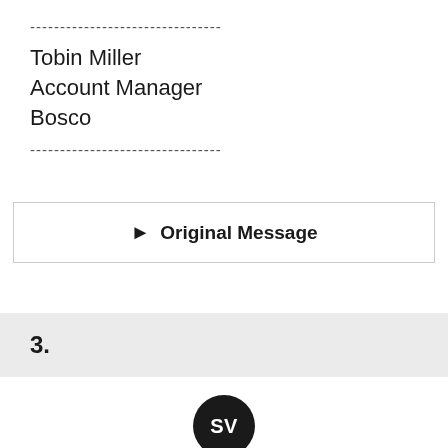--------------------------------
Tobin Miller
Account Manager
Bosco
--------------------------------
▶ Original Message
3.
[Figure (other): Avatar circle with initials SV in white on black background]
Satish Venkataraman
Posted 04-13-2022 09:42